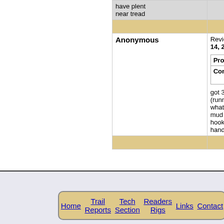| (gray row - truncated text: have plenty near tread) |  |
| (tan row) |  |
| Anonymous | Review Date: Tue May 14, 2013
Pros: Thro...
Cons: Beat (med...
got 35x15m (running 2 what do yo mud tire li hooks up o handles sa |
| (tan row) |  |
Powered
Copyright
Home | Trail Reports | Tech Section | Readers Rigs | Links | Contact